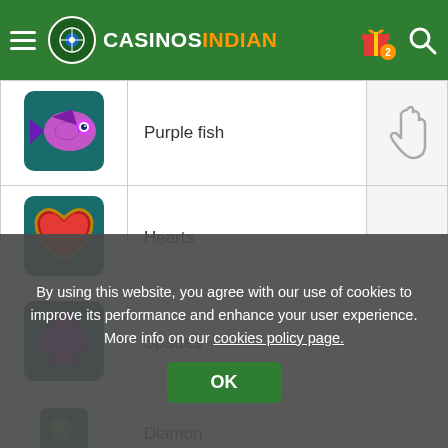CASINOS INDIAN
| Symbol | Name | Payout |
| --- | --- | --- |
| [purple fish image] | Purple fish |  |
| [hearts image] | Hearts |  |
| [spades image] | Spades |  |
| [diamond/orb image] | Diamon... |  |
By using this website, you agree with our use of cookies to improve its performance and enhance your user experience. More info on our cookies policy page.